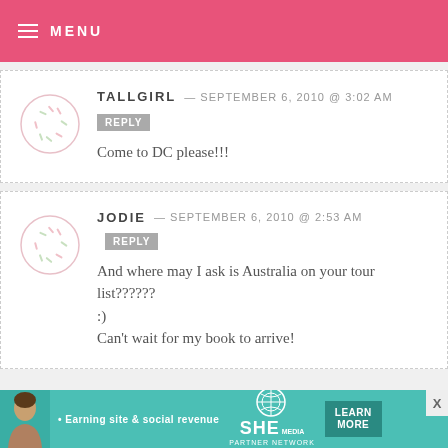MENU
TALLGIRL — SEPTEMBER 6, 2010 @ 3:02 AM
REPLY
Come to DC please!!!
JODIE — SEPTEMBER 6, 2010 @ 2:53 AM
REPLY
And where may I ask is Australia on your tour list??????
:)
Can't wait for my book to arrive!
[Figure (infographic): Advertisement banner for SHE Media Partner Network with text 'Earning site & social revenue', SHE logo, and LEARN MORE button]